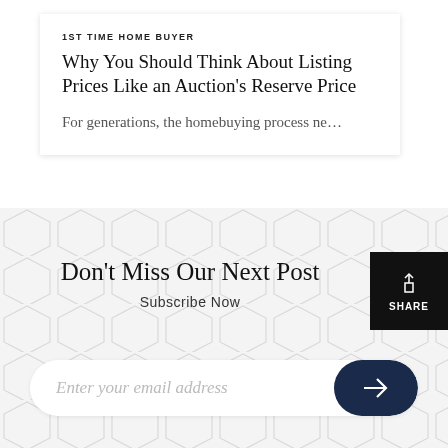1ST TIME HOME BUYER
Why You Should Think About Listing Prices Like an Auction's Reserve Price
For generations, the homebuying process ne…
Don't Miss Our Next Post
Subscribe Now
SHARE
Enter your email address